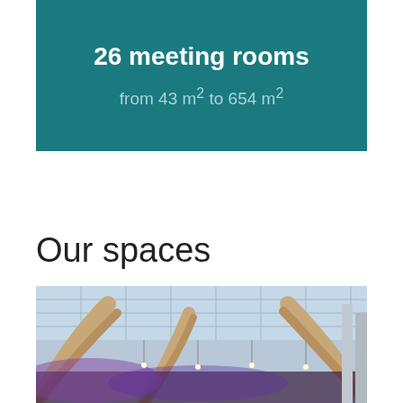26 meeting rooms
from 43 m² to 654 m²
Our spaces
[Figure (photo): Interior photo of a large hall with wooden arch beams, glass skylight ceiling panels, purple ambient lighting below, and hanging light fixtures. Modern architectural space.]